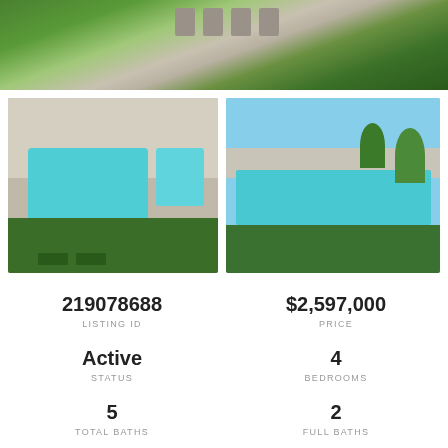[Figure (photo): Aerial view of luxury property with green lawn, pool area, and lounge chairs]
[Figure (photo): Aerial drone photo of house with large turquoise pool and pool house]
[Figure (photo): Ground level photo of luxury pool with palm trees and blue sky]
219078688
LISTING ID
$2,597,000
PRICE
Active
STATUS
4
BEDROOMS
5
TOTAL BATHS
2
FULL BATHS
3
2,486